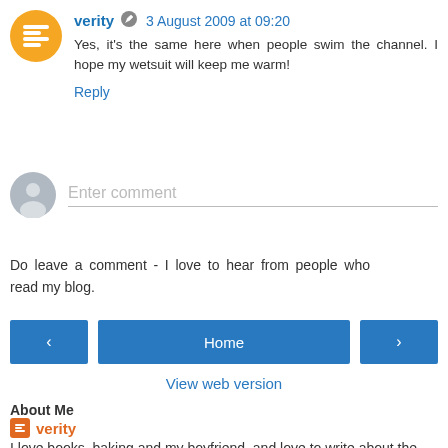verity  3 August 2009 at 09:20
Yes, it's the same here when people swim the channel. I hope my wetsuit will keep me warm!
Reply
Enter comment
Do leave a comment - I love to hear from people who read my blog.
Home
View web version
About Me
verity
I love books, baking and my boyfriend, and love to write about the fin...